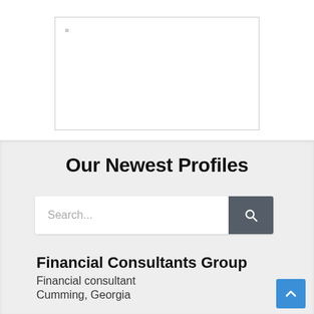[Figure (other): White rectangular image placeholder box with a thin gray border, small gray square in upper-left corner]
Our Newest Profiles
[Figure (screenshot): Search bar with placeholder text 'Search...' and a dark gray search button with magnifying glass icon]
Financial Consultants Group
Financial consultant
Cumming, Georgia